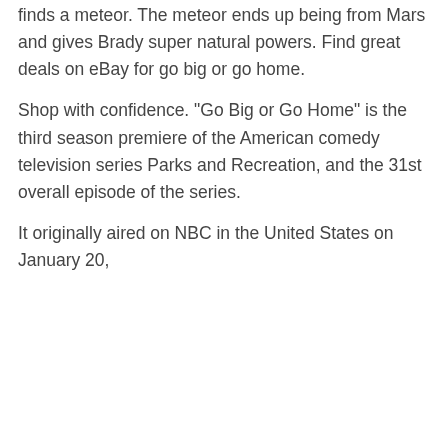finds a meteor. The meteor ends up being from Mars and gives Brady super natural powers. Find great deals on eBay for go big or go home.
Shop with confidence. "Go Big or Go Home" is the third season premiere of the American comedy television series Parks and Recreation, and the 31st overall episode of the series.
It originally aired on NBC in the United States on January 20,
| An analysis of the power of personal image of women |
| Essay about parents role |
| Children in the 1800s essay example |
| Sr2fomoo6 thesis |